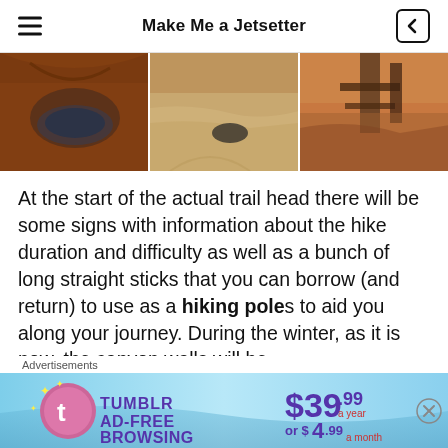Make Me a Jetsetter
[Figure (photo): Three side-by-side trail/canyon photos showing sandy red rock terrain and wooden structures]
At the start of the actual trail head there will be some signs with information about the hike duration and difficulty as well as a bunch of long straight sticks that you can borrow (and return) to use as a hiking poles to aid you along your journey. During the winter, as it is now, the canyon walls will be lined with icicles hanging from the...
Advertisements
[Figure (screenshot): Tumblr Ad-Free Browsing advertisement banner: $39.99 a year or $4.99 a month]